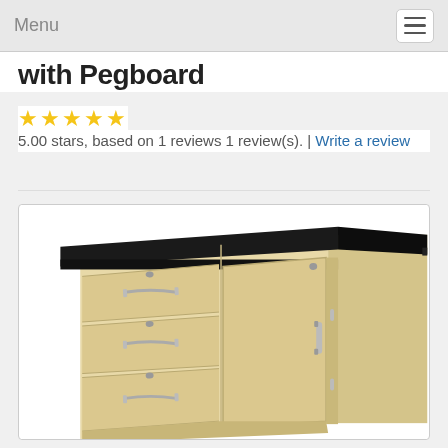Menu
with Pegboard
5.00 stars, based on 1 reviews 1 review(s). | Write a review
[Figure (photo): A wood-finish storage cabinet with a black top surface, three drawers on the left side each with a silver pull handle and lock, and one cabinet door on the right side with a silver handle. The cabinet has a light maple wood finish.]